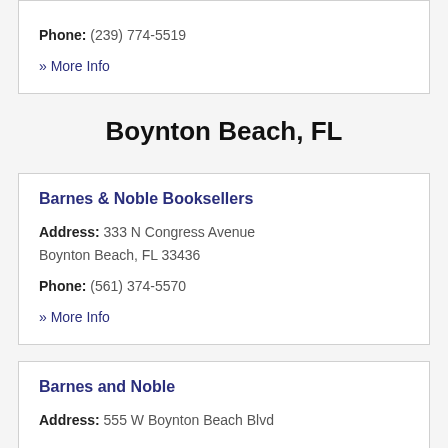Phone: (239) 774-5519
» More Info
Boynton Beach, FL
Barnes & Noble Booksellers
Address: 333 N Congress Avenue Boynton Beach, FL 33436
Phone: (561) 374-5570
» More Info
Barnes and Noble
Address: 555 W Boynton Beach Blvd...